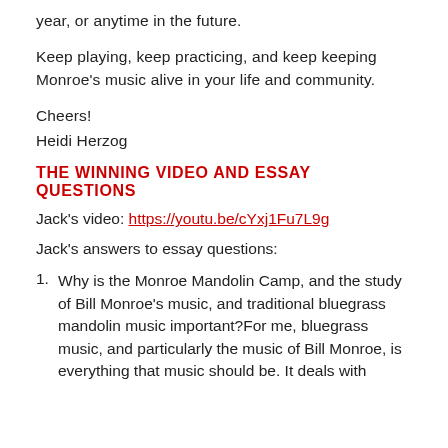year, or anytime in the future.
Keep playing, keep practicing, and keep keeping Monroe's music alive in your life and community.
Cheers!
Heidi Herzog
THE WINNING VIDEO AND ESSAY QUESTIONS
Jack's video: https://youtu.be/cYxj1Fu7L9g
Jack's answers to essay questions:
1. Why is the Monroe Mandolin Camp, and the study of Bill Monroe's music, and traditional bluegrass mandolin music important?For me, bluegrass music, and particularly the music of Bill Monroe, is everything that music should be. It deals with